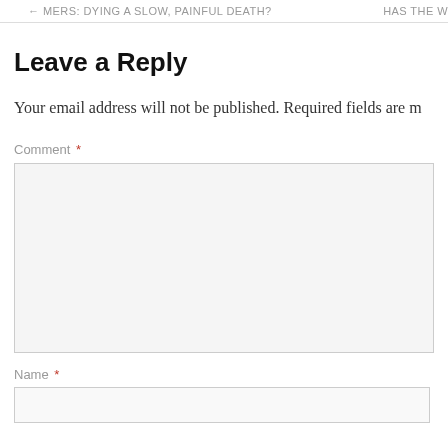← MERS: DYING A SLOW, PAINFUL DEATH?     HAS THE W
Leave a Reply
Your email address will not be published. Required fields are m
Comment *
Name *